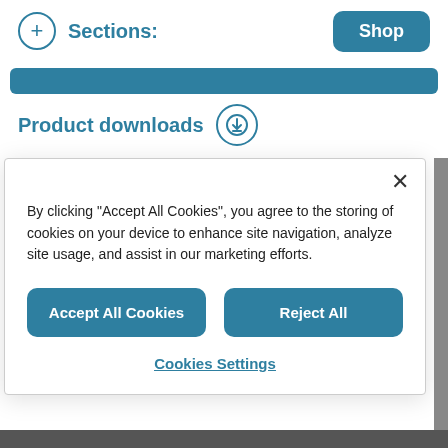Sections:  Shop
[Figure (screenshot): Partial blue navigation bar (cropped, teal/dark-cyan color)]
Product downloads
By clicking "Accept All Cookies", you agree to the storing of cookies on your device to enhance site navigation, analyze site usage, and assist in our marketing efforts.
Accept All Cookies
Reject All
Cookies Settings